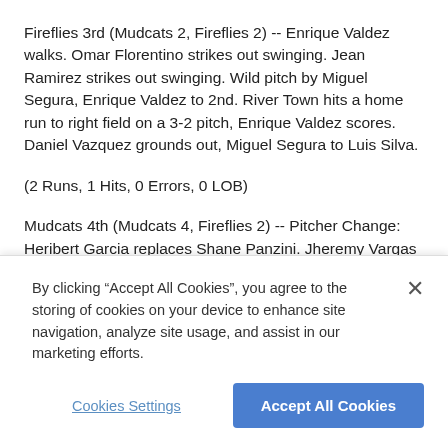Fireflies 3rd (Mudcats 2, Fireflies 2) -- Enrique Valdez walks. Omar Florentino strikes out swinging. Jean Ramirez strikes out swinging. Wild pitch by Miguel Segura, Enrique Valdez to 2nd. River Town hits a home run to right field on a 3-2 pitch, Enrique Valdez scores. Daniel Vazquez grounds out, Miguel Segura to Luis Silva.
(2 Runs, 1 Hits, 0 Errors, 0 LOB)
Mudcats 4th (Mudcats 4, Fireflies 2) -- Pitcher Change: Heribert Garcia replaces Shane Panzini. Jheremy Vargas hits a home run to left field on a 0-0 pitch. Jose Sibrian strikes out swinging, Omar Hernandez to Guillermo Quintana. Luis Silva grounds out, Enrique Valdez to Guillermo Quintana. Eduardo Garcia hits a
By clicking “Accept All Cookies”, you agree to the storing of cookies on your device to enhance site navigation, analyze site usage, and assist in our marketing efforts.
Cookies Settings
Accept All Cookies